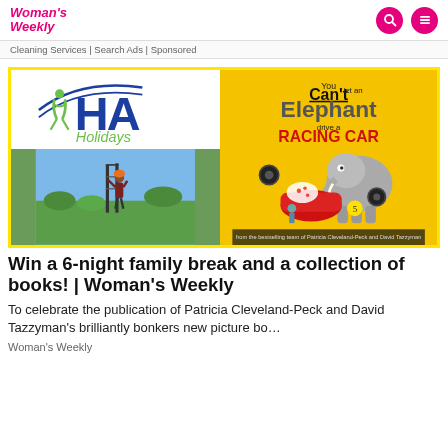Woman's Weekly
Cleaning Services | Search Ads | Sponsored
[Figure (illustration): Promotional image split into two halves: left shows HA Holidays logo with climbing person icon and photo of person rock climbing outdoors; right shows book cover 'You Can't let an Elephant drive a RACING CAR' on yellow background with illustrated elephant crashing a racing car]
Win a 6-night family break and a collection of books! | Woman's Weekly
To celebrate the publication of Patricia Cleveland-Peck and David Tazzyman's brilliantly bonkers new picture bo…
Woman's Weekly